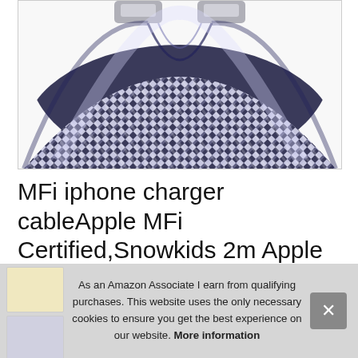[Figure (photo): Close-up photo of a black and white nylon braided Lightning to USB cable connector ends, showing the woven texture of the cable.]
MFi iphone charger cableApple MFi Certified,Snowkids 2m Apple cable/line High Speed lightning to USB cable Nylon iPhone Charger sync cord
[Figure (photo): Thumbnail images of product on left side]
As an Amazon Associate I earn from qualifying purchases. This website uses the only necessary cookies to ensure you get the best experience on our website. More information